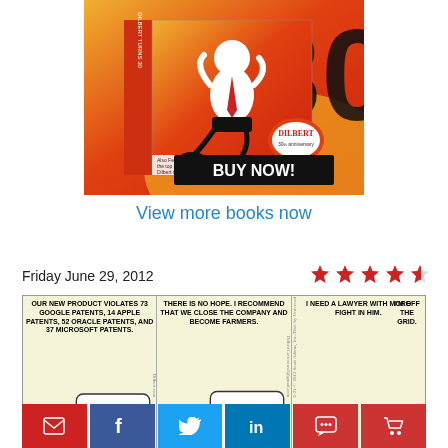[Figure (illustration): Dilbert 30th anniversary book advertisement showing a cartoon character dancing with the number 30 on an orange/red cover. Text on book: 'Also Features the top 30 Dilbert comics of the last decade!' with a Dilbert logo badge. Black banner at bottom reads 'BUY NOW!']
View more books now
Friday June 29, 2012
[Figure (illustration): Dilbert comic strip, 3 panels. Panel 1: character says 'OUR NEW PRODUCT VIOLATES 73 GOOGLE PATENTS, 14 APPLE PATENTS, 52 ORACLE PATENTS, AND 37 MICROSOFT PATENTS.' Panel 2: character says 'THERE IS NO HOPE. I RECOMMEND THAT WE CLOSE THE COMPANY AND BECOME FARMERS.' Panel 3: character says 'I NEED A LAWYER WITH MORE FIGHT IN HIM.' Other character responds 'I'M OFF THE GRID.']
[Figure (illustration): Star rating: 4 out of 5 stars (four filled red stars and one half/empty star)]
[Figure (infographic): Social sharing buttons: email (red), Facebook (blue), Twitter (light blue), LinkedIn (blue), comment (red), shopping cart (red)]